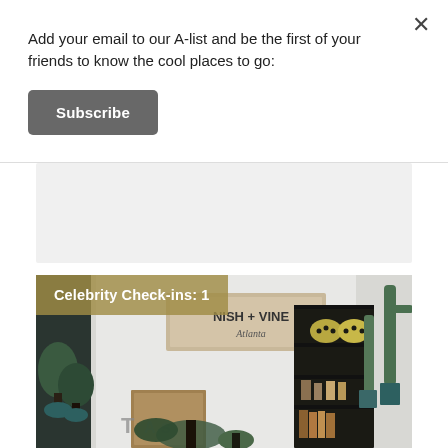Add your email to our A-list and be the first of your friends to know the cool places to go:
Subscribe
[Figure (photo): Interior photo of a plant and home goods shop called NISH + VINE Atlanta, showing shelves with cacti, potted plants, decorative items, and a wooden sign.]
Celebrity Check-ins: 1